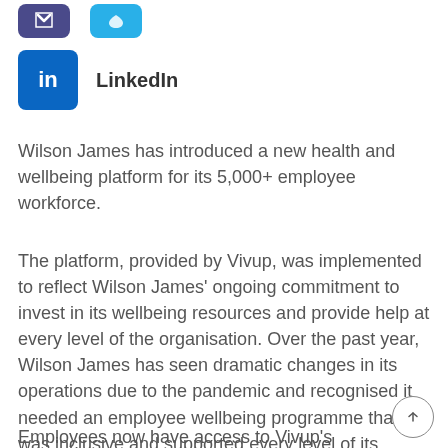[Figure (logo): Partial dark purple/blue icon box and partial cyan/blue icon box visible at top]
[Figure (logo): LinkedIn icon box (blue square with 'in') with LinkedIn label text]
Wilson James has introduced a new health and wellbeing platform for its 5,000+ employee workforce.
The platform, provided by Vivup, was implemented to reflect Wilson James' ongoing commitment to invest in its wellbeing resources and provide help at every level of the organisation. Over the past year, Wilson James has seen dramatic changes in its operations due to the pandemic and recognised it needed an employee wellbeing programme that was inclusive and supported every level of its workforce.
Employees now have access to Vivup's